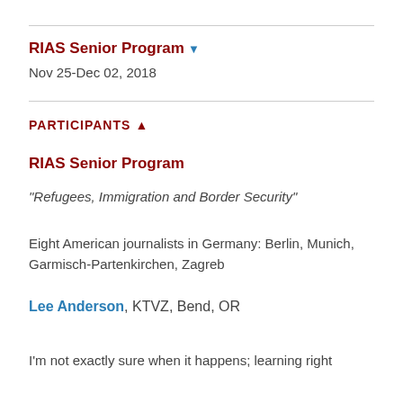RIAS Senior Program ▼
Nov 25-Dec 02, 2018
PARTICIPANTS ▲
RIAS Senior Program
“Refugees, Immigration and Border Security”
Eight American journalists in Germany: Berlin, Munich, Garmisch-Partenkirchen, Zagreb
Lee Anderson, KTVZ, Bend, OR
I'm not exactly sure when it happens; learning right